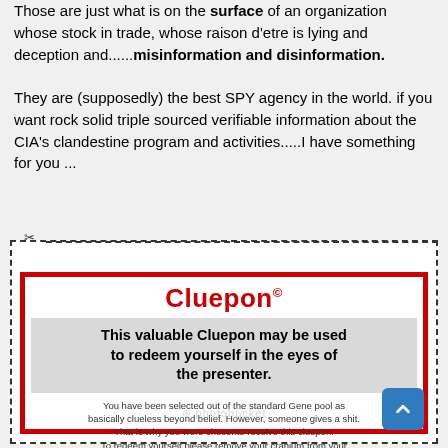Those are just what is on the surface of an organization whose stock in trade, whose raison d'etre is lying and deception and......misinformation and disinformation.
They are (supposedly) the best SPY agency in the world. if you want rock solid triple sourced verifiable information about the CIA's clandestine program and activities.....I have something for you ...
[Figure (illustration): A humorous 'Cluepon' coupon image with dashed border and scissors cut line at top. Red border coupon titled 'Cluepon©' in red bold text. Gray background section reads: 'This valuable Cluepon may be used to redeem yourself in the eyes of the presenter.' Smaller text below: 'You have been selected out of the standard Gene pool as basically clueless beyond belief. However, someone gives a shit. That is why you were chosen to receive this cluepon. To redeem yourself please remove your cranium from your anal sphincter as soon as possible. One cluepon per relationship. Not valid in altered states. Offer valid for a period of 24hrs afterwhich nobody gives a flying fuck.' Photobucket watermark visible. Blue scroll-to-top button in bottom right corner.]